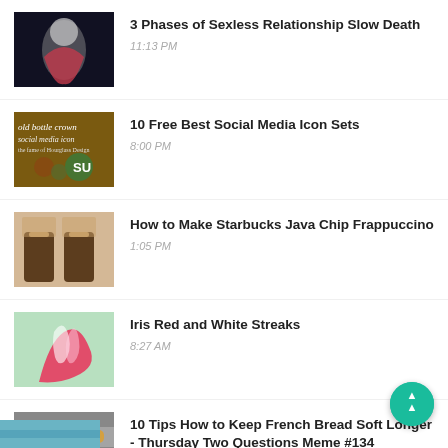3 Phases of Sexless Relationship Slow Death
11:13 PM
10 Free Best Social Media Icon Sets
8:00 PM
How to Make Starbucks Java Chip Frappuccino
1:05 PM
Iris Red and White Streaks
8:27 AM
10 Tips How to Keep French Bread Soft Longer - Thursday Two Questions Meme #134
7:16 AM
[Figure (photo): Partial thumbnail of a sixth list item, cropped at bottom]